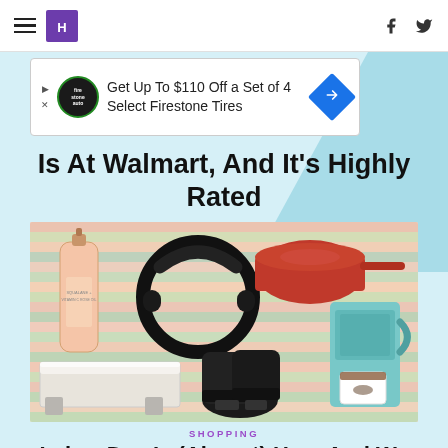HuffPost navigation bar with hamburger menu, logo, Facebook and Twitter icons
[Figure (screenshot): Advertisement banner: Get Up To $110 Off a Set of 4 Select Firestone Tires with Firestone Auto Care logo and blue diamond arrow icon]
Is At Walmart, And It's Highly Rated
[Figure (photo): Collage of products on striped colorful background: facial oil bottle, black Beats headphones, red Always Pan, white mattress/bed frame, black ankle boots, teal Keurig coffee maker with mug]
SHOPPING
Labor Day Is (Almost) Here And We Rounded Up All The